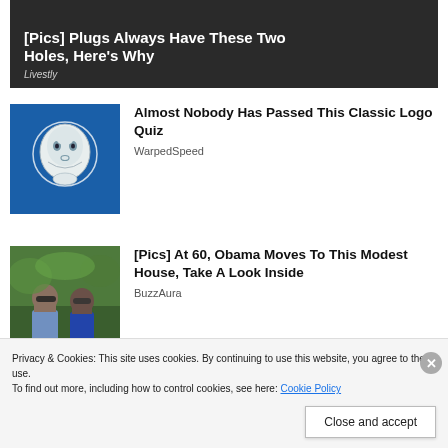[Figure (photo): Dark image banner with text overlay: headline '[Pics] Plugs Always Have These Two Holes, Here's Why' and source 'Livestly']
[Figure (illustration): Blue background with pencil sketch illustration of a baby's face]
Almost Nobody Has Passed This Classic Logo Quiz
WarpedSpeed
[Figure (photo): Photo of two people wearing sunglasses outdoors with green foliage in background]
[Pics] At 60, Obama Moves To This Modest House, Take A Look Inside
BuzzAura
Privacy & Cookies: This site uses cookies. By continuing to use this website, you agree to their use.
To find out more, including how to control cookies, see here: Cookie Policy
Close and accept